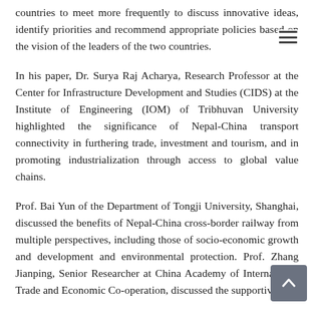countries to meet more frequently to discuss innovative ideas, identify priorities and recommend appropriate policies based on the vision of the leaders of the two countries.
In his paper, Dr. Surya Raj Acharya, Research Professor at the Center for Infrastructure Development and Studies (CIDS) at the Institute of Engineering (IOM) of Tribhuvan University highlighted the significance of Nepal-China transport connectivity in furthering trade, investment and tourism, and in promoting industrialization through access to global value chains.
Prof. Bai Yun of the Department of Tongji University, Shanghai, discussed the benefits of Nepal-China cross-border railway from multiple perspectives, including those of socio-economic growth and development and environmental protection. Prof. Zhang Jianping, Senior Researcher at China Academy of International Trade and Economic Co-operation, discussed the supportive